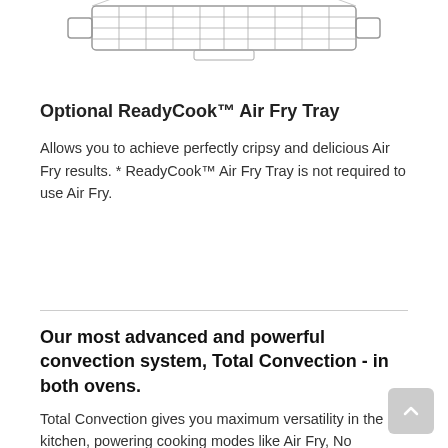[Figure (illustration): Line drawing of a wire mesh Air Fry tray / rack viewed from a slight angle, showing grid pattern and handles on each end.]
Optional ReadyCook™ Air Fry Tray
Allows you to achieve perfectly cripsy and delicious Air Fry results. * ReadyCook™ Air Fry Tray is not required to use Air Fry.
Our most advanced and powerful convection system, Total Convection - in both ovens.
Total Convection gives you maximum versatility in the kitchen, powering cooking modes like Air Fry, No Preheat, Slow Cook, Convection Bake, Steam Bake, Convection